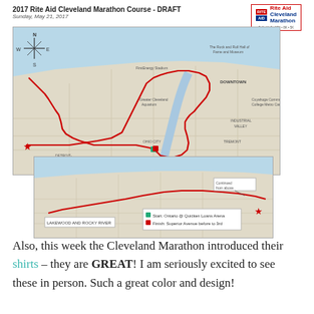2017 Rite Aid Cleveland Marathon Course - DRAFT
Sunday, May 21, 2017
[Figure (map): Draft course map for 2017 Rite Aid Cleveland Marathon showing the race route marked in red on a street map of Cleveland, Ohio. Includes start at Ontario @ Quicken Loans Arena and finish at Superior Avenue before to 3rd. Map shown in two panels: overview and lakefront detail.]
Also, this week the Cleveland Marathon introduced their shirts – they are GREAT! I am seriously excited to see these in person. Such a great color and design!